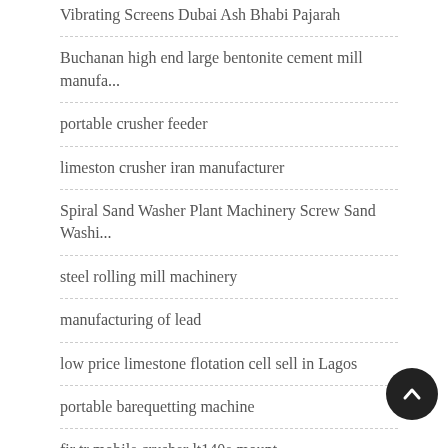Vibrating Screens Dubai Ash Bhabi Pajarah
Buchanan high end large bentonite cement mill manufa...
portable crusher feeder
limeston crusher iran manufacturer
Spiral Sand Washer Plant Machinery Screw Sand Washi...
steel rolling mill machinery
manufacturing of lead
low price limestone flotation cell sell in Lagos
portable barequetting machine
fir tr mobile crusher lt140e mount